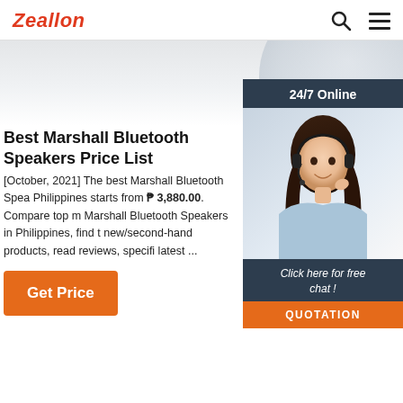Zeallon
[Figure (photo): Customer service representative wearing headset, with 24/7 Online badge and chat/quotation widget overlay on right side of page]
Best Marshall Bluetooth Speakers Price List
[October, 2021] The best Marshall Bluetooth Speakers price in Philippines starts from ₱ 3,880.00. Compare top models of Marshall Bluetooth Speakers in Philippines, find the cheapest new/second-hand products, read reviews, specifications, and the latest ...
Get Price